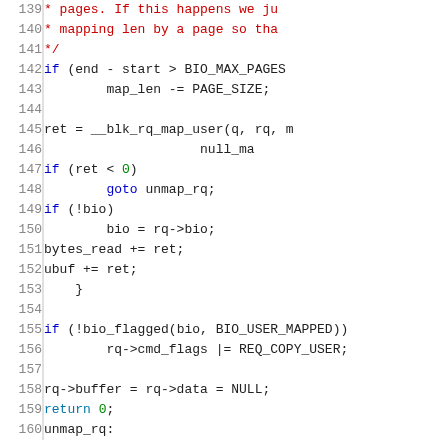[Figure (screenshot): Source code listing in C, lines 139-160, showing kernel block request mapping code with syntax highlighting. Comments in red, keywords in blue, line numbers in grey on left.]